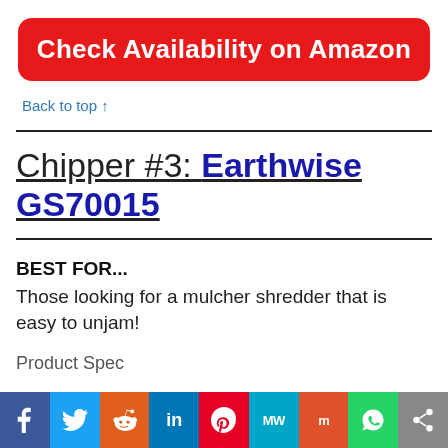Check Availability on Amazon
Back to top ↑
Chipper #3: Earthwise GS70015
BEST FOR...
Those looking for a mulcher shredder that is easy to unjam!
Product Spec